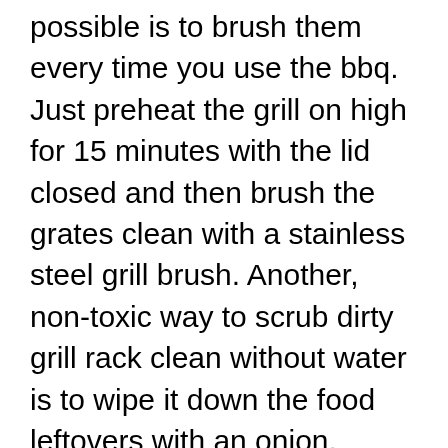possible is to brush them every time you use the bbq. Just preheat the grill on high for 15 minutes with the lid closed and then brush the grates clean with a stainless steel grill brush. Another, non-toxic way to scrub dirty grill rack clean without water is to wipe it down the food leftovers with an onion. You're going to want to make sure your grill is on when doing so, as the heat activates the onion's natural cleaning power. Apart of that when grilling in the rain, keep the lid closed to protect the burning charcoal or cooking wood from moisture. Whenever you open the lid, rain or at least moisture vapor in the air will get into the inside